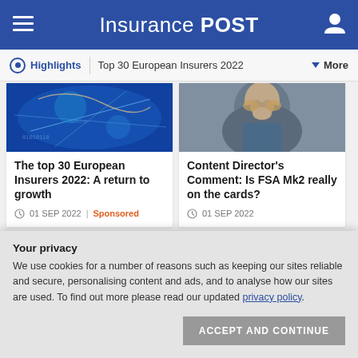Insurance POST
Highlights | Top 30 European Insurers 2022 | More
[Figure (photo): Abstract digital/technology image with blue tones and light streaks (left card thumbnail)]
The top 30 European Insurers 2022: A return to growth
01 SEP 2022 | Sponsored
[Figure (photo): Portrait photo of a bearded man in a jacket (right card thumbnail)]
Content Director's Comment: Is FSA Mk2 really on the cards?
01 SEP 2022
VOLUNTEERING
Your privacy
We use cookies for a number of reasons such as keeping our sites reliable and secure, personalising content and ads, and to analyse how our sites are used. To find out more please read our updated privacy policy.